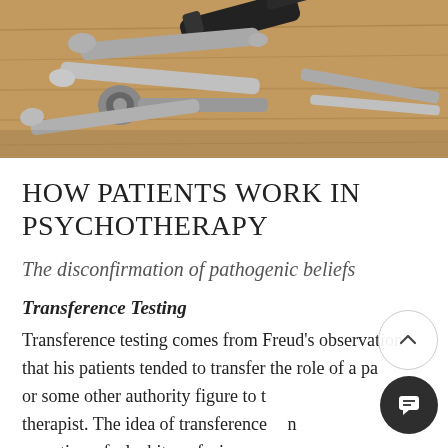[Figure (photo): Photo of various metallic wrenches and tools laid out on a wooden surface, viewed from above.]
HOW PATIENTS WORK IN PSYCHOTHERAPY
The disconfirmation of pathogenic beliefs
Transference Testing
Transference testing comes from Freud's observation that his patients tended to transfer the role of a parent or some other authority figure to the therapist. The idea of transference can sometimes feel a bit confusing, far-fetched, and even magical, as if the